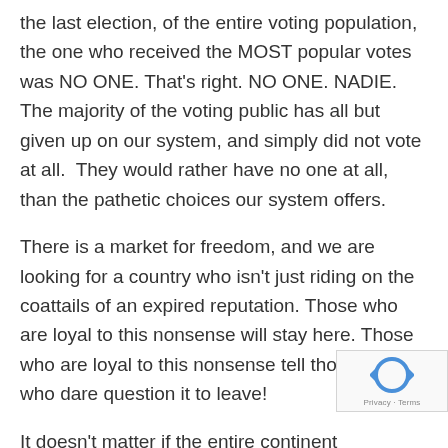the last election, of the entire voting population, the one who received the MOST popular votes was NO ONE. That's right. NO ONE. NADIE. The majority of the voting public has all but given up on our system, and simply did not vote at all.  They would rather have no one at all, than the pathetic choices our system offers.
There is a market for freedom, and we are looking for a country who isn't just riding on the coattails of an expired reputation. Those who are loyal to this nonsense will stay here. Those who are loyal to this nonsense tell those of us who dare question it to leave!
It doesn't matter if the entire continent
[Figure (logo): reCAPTCHA logo with Privacy and Terms text]